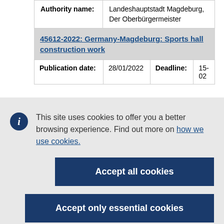| Authority name: | Landeshauptstadt Magdeburg, Der Oberbürgermeister |
45612-2022: Germany-Magdeburg: Sports hall construction work
| Publication date: | 28/01/2022 | Deadline: | 15-02 |
| --- | --- | --- | --- |
This site uses cookies to offer you a better browsing experience. Find out more on how we use cookies.
Accept all cookies
Accept only essential cookies